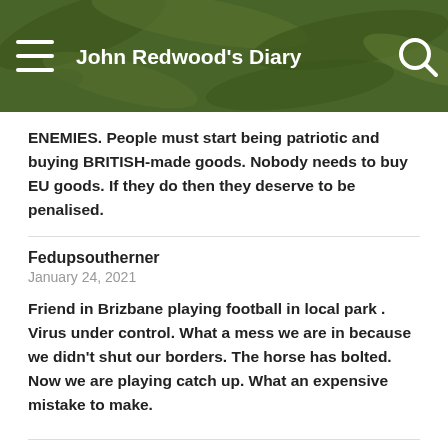John Redwood's Diary
ENEMIES. People must start being patriotic and buying BRITISH-made goods. Nobody needs to buy EU goods. If they do then they deserve to be penalised.
Fedupsoutherner
January 24, 2021
Friend in Brizbane playing football in local park . Virus under control. What a mess we are in because we didn't shut our borders. The horse has bolted. Now we are playing catch up. What an expensive mistake to make.